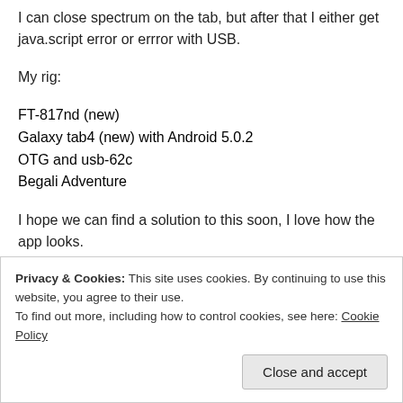I can close spectrum on the tab, but after that I either get java.script error or errror with USB.
My rig:
FT-817nd (new)
Galaxy tab4 (new) with Android 5.0.2
OTG and usb-62c
Begali Adventure
I hope we can find a solution to this soon, I love how the app looks.
I have tried to reinstall, restart etc many times.
Privacy & Cookies: This site uses cookies. By continuing to use this website, you agree to their use.
To find out more, including how to control cookies, see here: Cookie Policy
fan)